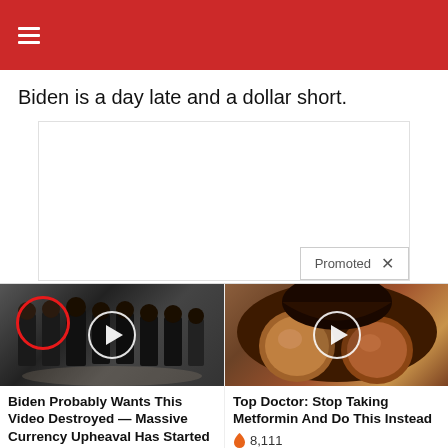≡ (hamburger menu)
Biden is a day late and a dollar short.
[Figure (other): Advertisement placeholder block with Promoted label and X close button]
[Figure (other): Promotional video thumbnail: group of men in suits at CIA headquarters, with a red circle highlight around one figure and a play button overlay]
Biden Probably Wants This Video Destroyed — Massive Currency Upheaval Has Started
🔥 91,090
[Figure (other): Promotional video thumbnail: macadamia nuts with play button overlay]
Top Doctor: Stop Taking Metformin And Do This Instead
🔥 8,111